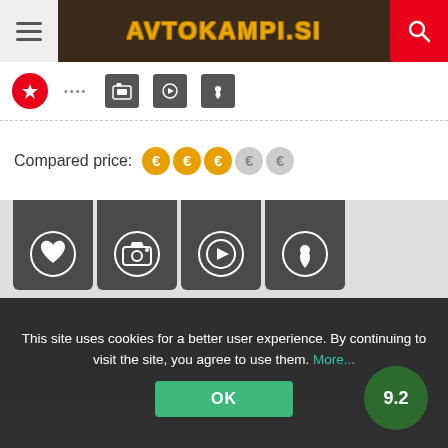AVTOKAMPI.SI
[Figure (screenshot): Icon strip with red circle icon, dots, dark square icons]
Compared price: €€€€€ (3 active orange, 2 inactive grey)
[Figure (screenshot): Four dark tab icons: heart, camera, play, location pin]
[Figure (screenshot): Grey map/content area]
This site uses cookies for a better user experience. By continuing to visit the site, you agree to use them. More...
OK
9.2